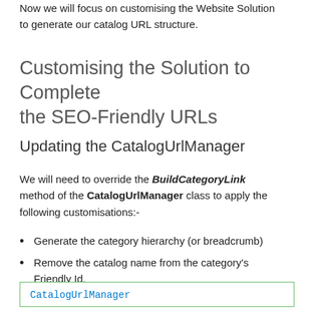Now we will focus on customising the Website Solution to generate our catalog URL structure.
Customising the Solution to Complete the SEO-Friendly URLs
Updating the CatalogUrlManager
We will need to override the BuildCategoryLink method of the CatalogUrlManager class to apply the following customisations:-
Generate the category hierarchy (or breadcrumb)
Remove the catalog name from the category's Friendly Id.
CatalogUrlManager